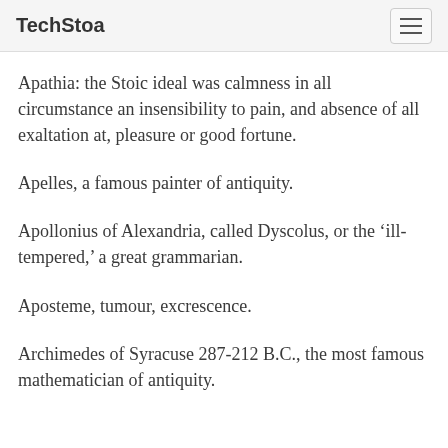TechStoa
Apathia: the Stoic ideal was calmness in all circumstance an insensibility to pain, and absence of all exaltation at, pleasure or good fortune.
Apelles, a famous painter of antiquity.
Apollonius of Alexandria, called Dyscolus, or the ‘ill-tempered,’ a great grammarian.
Aposteme, tumour, excrescence.
Archimedes of Syracuse 287-212 B.C., the most famous mathematician of antiquity.